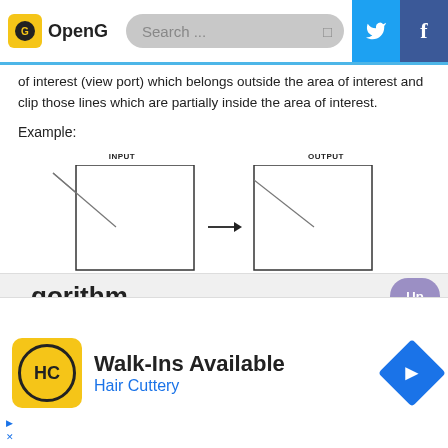OpenG | Search ...
of interest (view port) which belongs outside the area of interest and clip those lines which are partially inside the area of interest.
Example:
[Figure (illustration): Diagram showing Cohen Sutherland Line Clipping Algorithm. Left side labeled INPUT shows a rectangle with a diagonal line crossing through it (partially outside). An arrow points right. Right side labeled OUTPUT shows the same rectangle with only the portion of the diagonal line inside the rectangle visible. Caption: Cohen Sutherland Line Clipping Algorithm]
Cohen Sutherland Line Clipping Algorithm
gorithm